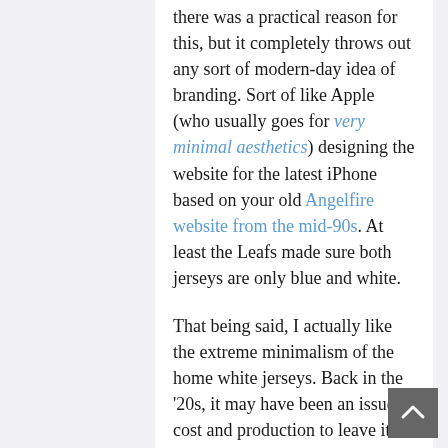there was a practical reason for this, but it completely throws out any sort of modern-day idea of branding. Sort of like Apple (who usually goes for very minimal aesthetics) designing the website for the latest iPhone based on your old Angelfire website from the mid-90s. At least the Leafs made sure both jerseys are only blue and white.
That being said, I actually like the extreme minimalism of the home white jerseys. Back in the '20s, it may have been an issue of cost and production to leave it like that, but in today's sports-design world, such a design would be seriously ballsy.
The... (partial, cut off)